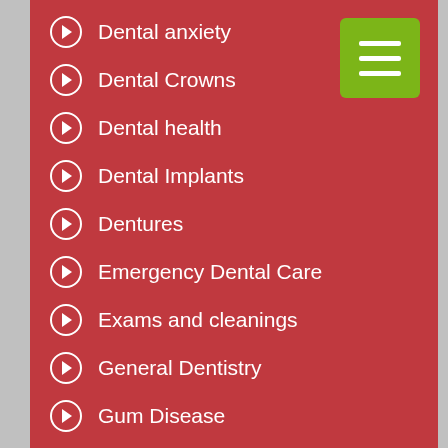[Figure (other): Green hamburger menu button in top right corner]
Dental anxiety
Dental Crowns
Dental health
Dental Implants
Dentures
Emergency Dental Care
Exams and cleanings
General Dentistry
Gum Disease
Invisalign Clear Braces
Life Long
Porcelain Veneers